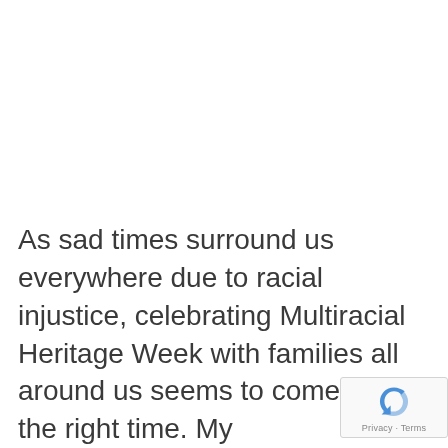As sad times surround us everywhere due to racial injustice, celebrating Multiracial Heritage Week with families all around us seems to come at just the right time. My